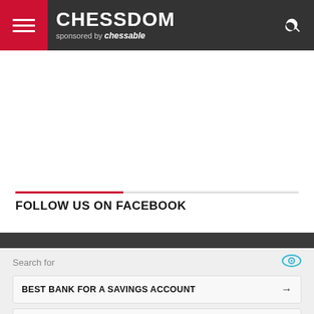CHESSDOM sponsored by chessable
FOLLOW US ON FACEBOOK
Search for
BEST BANK FOR A SAVINGS ACCOUNT →
HIGH PAYING JOBS →